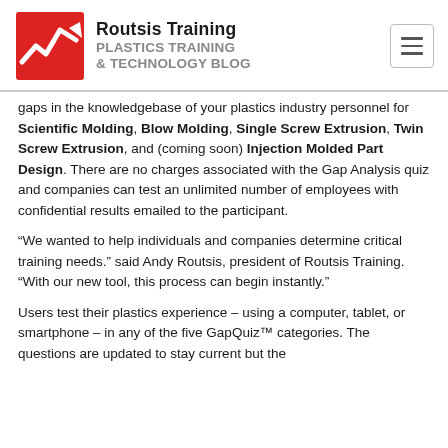[Figure (logo): Routsis Training logo with red arrow/chart icon and text 'Routsis Training PLASTICS TRAINING & TECHNOLOGY BLOG']
gaps in the knowledgebase of your plastics industry personnel for Scientific Molding, Blow Molding, Single Screw Extrusion, Twin Screw Extrusion, and (coming soon) Injection Molded Part Design. There are no charges associated with the Gap Analysis quiz and companies can test an unlimited number of employees with confidential results emailed to the participant.
“We wanted to help individuals and companies determine critical training needs.” said Andy Routsis, president of Routsis Training. “With our new tool, this process can begin instantly.”
Users test their plastics experience – using a computer, tablet, or smartphone – in any of the five GapQuiz™ categories. The questions are updated to stay current but the